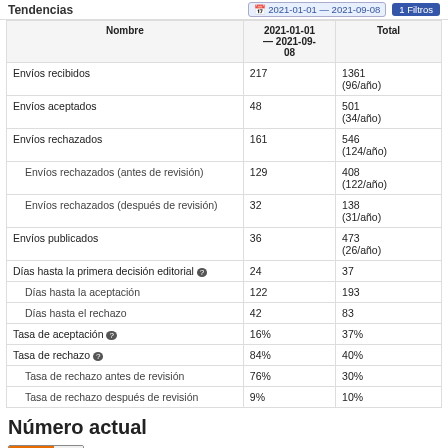Tendencias  2021-01-01 — 2021-09-08  1 Filtros
| Nombre | 2021-01-01 — 2021-09-08 | Total |
| --- | --- | --- |
| Envíos recibidos | 217 | 1361 (96/año) |
| Envíos aceptados | 48 | 501 (34/año) |
| Envíos rechazados | 161 | 546 (124/año) |
| Envíos rechazados (antes de revisión) | 129 | 408 (122/año) |
| Envíos rechazados (después de revisión) | 32 | 138 (31/año) |
| Envíos publicados | 36 | 473 (26/año) |
| Días hasta la primera decisión editorial ⓘ | 24 | 37 |
| Días hasta la aceptación | 122 | 193 |
| Días hasta el rechazo | 42 | 83 |
| Tasa de aceptación ⓘ | 16% | 37% |
| Tasa de rechazo ⓘ | 84% | 40% |
| Tasa de rechazo antes de revisión | 76% | 30% |
| Tasa de rechazo después de revisión | 9% | 10% |
Número actual
[Figure (other): ATOM 1.0 badge/button]